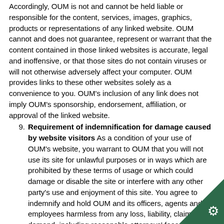Accordingly, OUM is not and cannot be held liable or responsible for the content, services, images, graphics, products or representations of any linked website. OUM cannot and does not guarantee, represent or warrant that the content contained in those linked websites is accurate, legal and inoffensive, or that those sites do not contain viruses or will not otherwise adversely affect your computer. OUM provides links to these other websites solely as a convenience to you. OUM's inclusion of any link does not imply OUM's sponsorship, endorsement, affiliation, or approval of the linked website.
9. Requirement of indemnification for damage caused by website visitors As a condition of your use of OUM's website, you warrant to OUM that you will not use its site for unlawful purposes or in ways which are prohibited by these terms of usage or which could damage or disable the site or interfere with any other party's use and enjoyment of this site. You agree to indemnify and hold OUM and its officers, agents and employees harmless from any loss, liability, claim or demand, including reasonable attorneys' fees, made by any third party due to or arising out of your use of OUM's site.
10. OUM's right to modify the content and rules